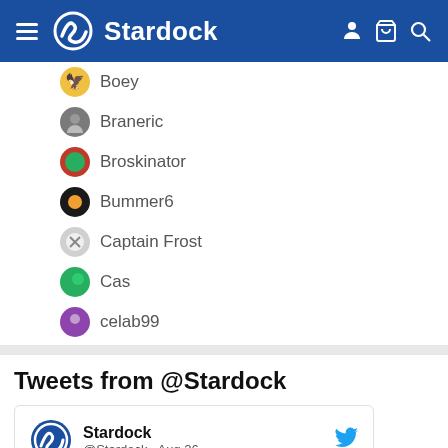Stardock
Boey
Braneric
Broskinator
Bummer6
Captain Frost
Cas
celab99
Hangout with people who get it
Tweets from @Stardock
[Figure (screenshot): Tweet card from Stardock (@Stardock · Aug 26) with Twitter bird icon and Stardock logo. Text: Space exploration is something that has always fascinated us here at Stardock! A new potential mission to]